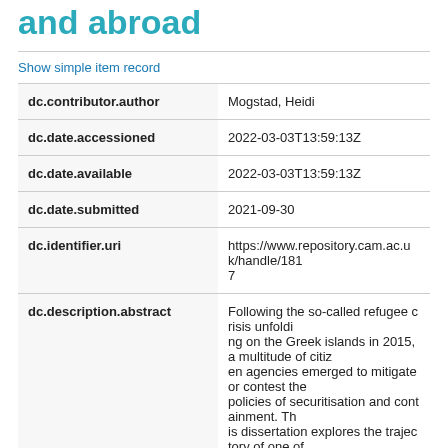and abroad
Show simple item record
| Field | Value |
| --- | --- |
| dc.contributor.author | Mogstad, Heidi |
| dc.date.accessioned | 2022-03-03T13:59:13Z |
| dc.date.available | 2022-03-03T13:59:13Z |
| dc.date.submitted | 2021-09-30 |
| dc.identifier.uri | https://www.repository.cam.ac.uk/handle/1817 |
| dc.description.abstract | Following the so-called refugee crisis unfolding on the Greek islands in 2015, a multitude of citizen agencies emerged to mitigate or contest the policies of securitisation and containment. This dissertation explores the trajectory of one of these initiatives: a Norwegian humanitarian volunteer organisation Dråpen i Havet (A Drop in the Ocean, DiH). Established by a mother-of-five with no prior experience in humanitarian or social work, D |